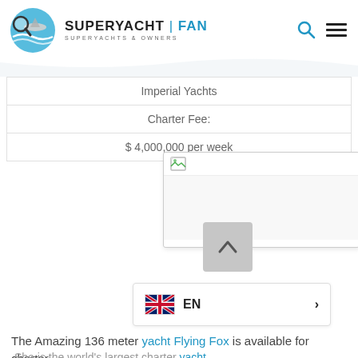[Figure (logo): SuperYachtFan logo with magnifying glass over yacht on blue circular background, with text SUPERYACHT|FAN and tagline SUPERYACHTS & OWNERS]
| Imperial Yachts |
| Charter Fee: |
| $ 4,000,000 per week |
[Figure (screenshot): Partially visible browser popup or image with a small broken image icon at top left]
[Figure (screenshot): Gray scroll-up button with upward caret symbol]
[Figure (screenshot): Language selector showing UK flag, EN label, and right arrow chevron]
The Amazing 136 meter yacht Flying Fox is available for charter.
She is the world's largest charter yacht